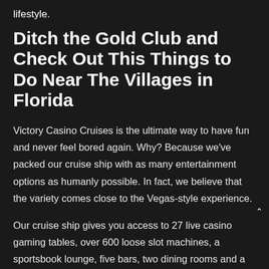lifestyle.
Ditch the Gold Club and Check Out This Things to Do Near The Villages in Florida
Victory Casino Cruises is the ultimate way to have fun and never feel bored again. Why? Because we've packed our cruise ship with as many entertainment options as humanly possible. In fact, we believe that the variety comes close to the Vegas-style experience.
Our cruise ship gives you access to 27 live casino gaming tables, over 600 loose slot machines, a sportsbook lounge, five bars, two dining rooms and a club that offers live music every day of the week.